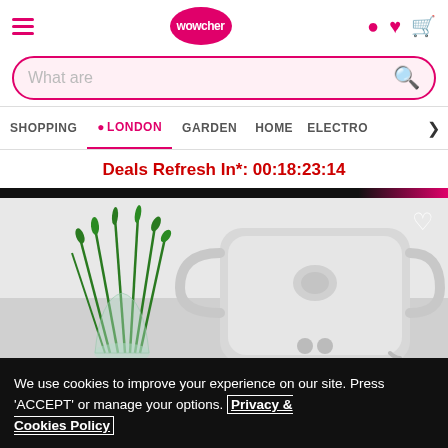Wowcher - Shopping, London, Garden, Home, Electronics
What are
SHOPPING   LONDON   GARDEN   HOME   ELECTRO>
Deals Refresh In*: 00:18:23:14
[Figure (photo): Product photo of a white portable air cooler/humidifier device next to a green plant in a glass vase on a white surface]
We use cookies to improve your experience on our site. Press 'ACCEPT' or manage your options. Privacy & Cookies Policy
Options
ACCEPT